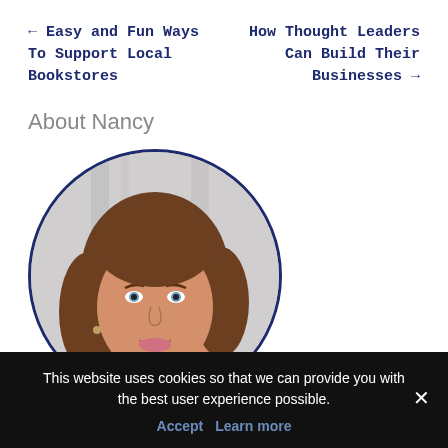← Easy and Fun Ways To Support Local Bookstores
How Thought Leaders Can Build Their Businesses →
About Nancy
[Figure (photo): Circular portrait photo of Nancy, a woman with brown shoulder-length hair, smiling, with a light background]
This website uses cookies so that we can provide you with the best user experience possible.
Accept   Learn more